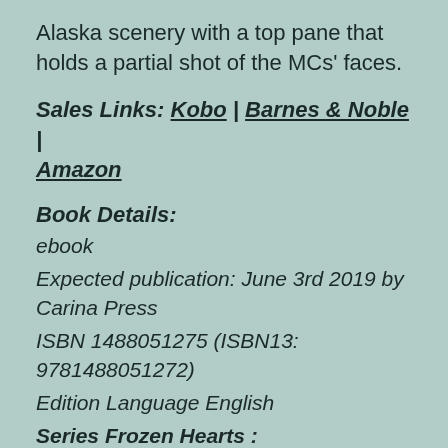Alaska scenery with a top pane that holds a partial shot of the MCs’ faces.
Sales Links: Kobo | Barnes & Noble | Amazon
Book Details:
ebook
Expected publication: June 3rd 2019 by Carina Press
ISBN 1488051275 (ISBN13: 9781488051272)
Edition Language English
Series Frozen Hearts :